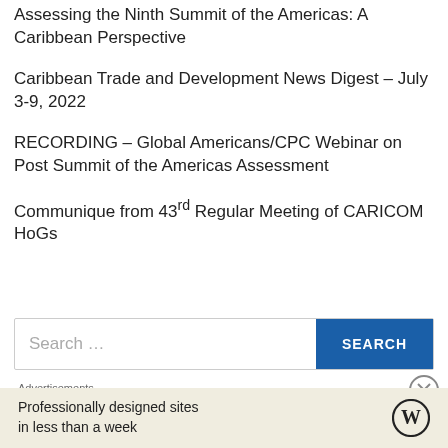Assessing the Ninth Summit of the Americas: A Caribbean Perspective
Caribbean Trade and Development News Digest – July 3-9, 2022
RECORDING – Global Americans/CPC Webinar on Post Summit of the Americas Assessment
Communique from 43rd Regular Meeting of CARICOM HoGs
Search …
Advertisements
Professionally designed sites in less than a week